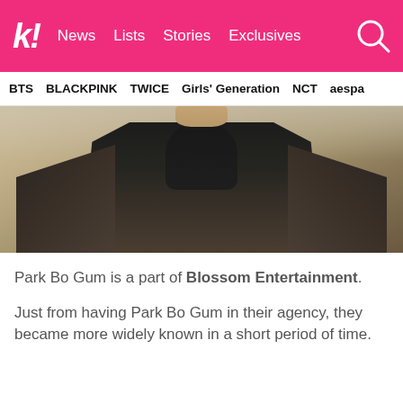k! News Lists Stories Exclusives
BTS BLACKPINK TWICE Girls' Generation NCT aespa
[Figure (photo): Park Bo Gum wearing a dark turtleneck and jacket, photographed from the shoulders up in front of a sandy/beach background]
Park Bo Gum is a part of Blossom Entertainment.
Just from having Park Bo Gum in their agency, they became more widely known in a short period of time.